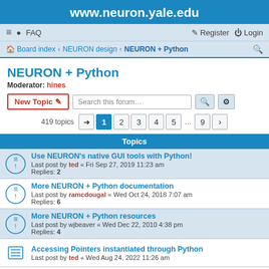www.neuron.yale.edu
≡  FAQ   Register  Login
Board index · NEURON design · NEURON + Python
NEURON + Python
Moderator: hines
New Topic  Search this forum…
419 topics  1 2 3 4 5 … 9 >
Topics
Use NEURON's native GUI tools with Python!
Last post by ted « Fri Sep 27, 2019 11:23 am
Replies: 2
More NEURON + Python documentation
Last post by ramcdougal « Wed Oct 24, 2018 7:07 am
Replies: 6
More NEURON + Python resources
Last post by wjbeaver « Wed Dec 22, 2010 4:38 pm
Replies: 4
Accessing Pointers instantiated through Python
Last post by ted « Wed Aug 24, 2022 11:26 am